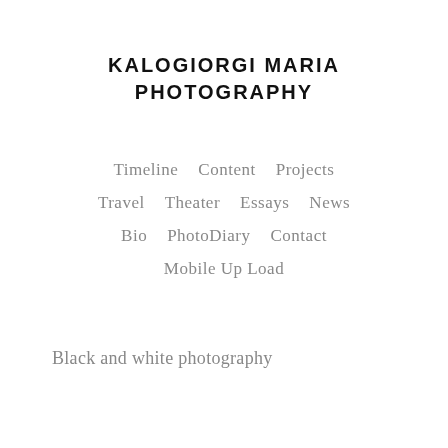KALOGIORGI MARIA PHOTOGRAPHY
Timeline   Content   Projects
Travel   Theater   Essays   News
Bio   PhotoDiary   Contact
Mobile Up Load
Black and white photography